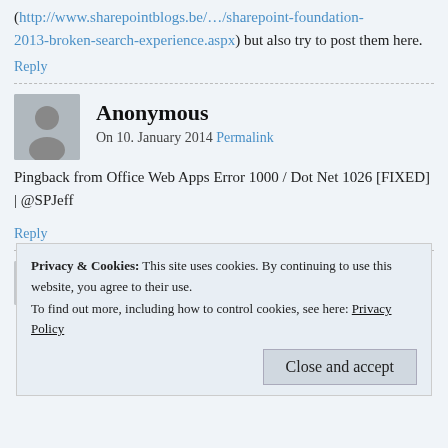(http://www.sharepointblogs.be/.../sharepoint-foundation-2013-broken-search-experience.aspx) but also try to post them here.
Reply
Anonymous
On 10. January 2014 Permalink
Pingback from Office Web Apps Error 1000 / Dot Net 1026 [FIXED] | @SPJeff
Reply
Anonymous
Privacy & Cookies: This site uses cookies. By continuing to use this website, you agree to their use.
To find out more, including how to control cookies, see here: Privacy Policy
Close and accept